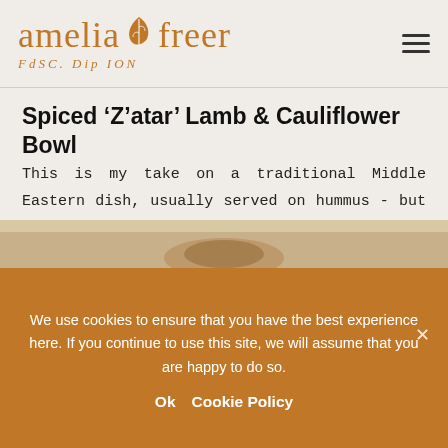amelia freer FdSC. Dip ION
Spiced ‘Z’atar’ Lamb & Cauliflower Bowl
This is my take on a traditional Middle Eastern dish, usually served on hummus - but cauliflower blended with tahini makes...
[Figure (photo): Partial view of a bowl dish, food photo]
We use cookies to ensure that you have the best experience here. If you continue to use this site, we will assume that you are happy to do so.
Ok   Cookie Policy